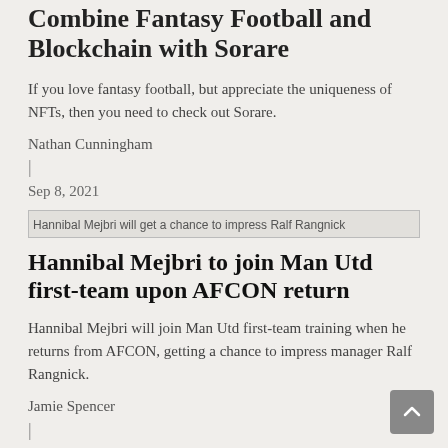Combine Fantasy Football and Blockchain with Sorare
If you love fantasy football, but appreciate the uniqueness of NFTs, then you need to check out Sorare.
Nathan Cunningham
|
Sep 8, 2021
[Figure (photo): Broken image placeholder: Hannibal Mejbri will get a chance to impress Ralf Rangnick]
Hannibal Mejbri to join Man Utd first-team upon AFCON return
Hannibal Mejbri will join Man Utd first-team training when he returns from AFCON, getting a chance to impress manager Ralf Rangnick.
Jamie Spencer
|